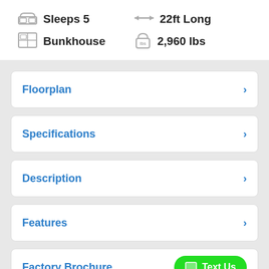Sleeps 5
22ft Long
Bunkhouse
2,960 lbs
Floorplan
Specifications
Description
Features
Factory Brochure